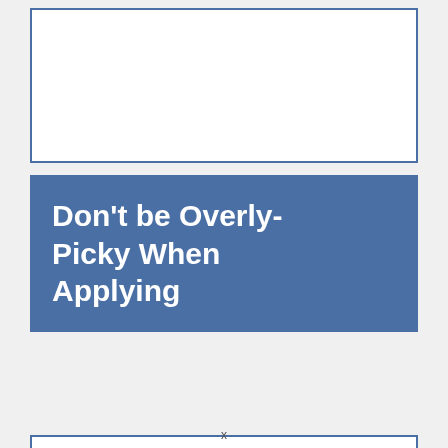[Figure (other): White rectangular box with blue border at the top of the page]
Don’t be Overly-Picky When Applying
[Figure (other): White rectangular box with blue border below the title]
x